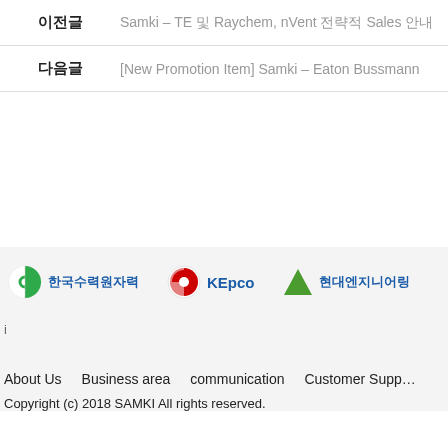이전글 — Samki – TE 및 Raychem, nVent 전략적 Sales 안내
다음글 — [New Promotion Item] Samki – Eaton Bussmann
[Figure (logo): 한국수력원자력 logo]
[Figure (logo): KEPCO logo]
[Figure (logo): 현대엔지니어링 logo]
i
About Us   Business area   communication   Customer Support
Copyright (c) 2018 SAMKI All rights reserved.